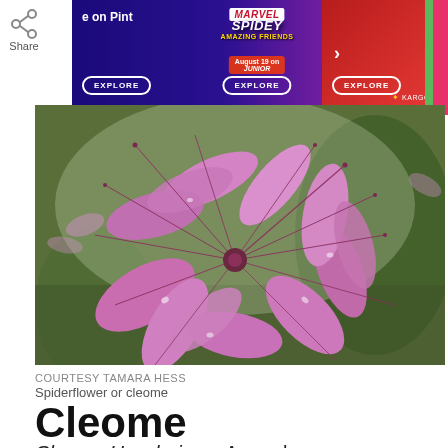[Figure (screenshot): Advertisement banner showing Pinterest/Spidey Amazing Friends promo with three EXPLORE buttons and KARGO AD label]
[Figure (photo): Close-up photograph of pink/purple Cleome (spiderflower) blossoms with rain droplets, against blurred green background]
COURTESY TAMARA HESS
Spiderflower or cleome
Cleome
Cleome Hassleriana, Annual